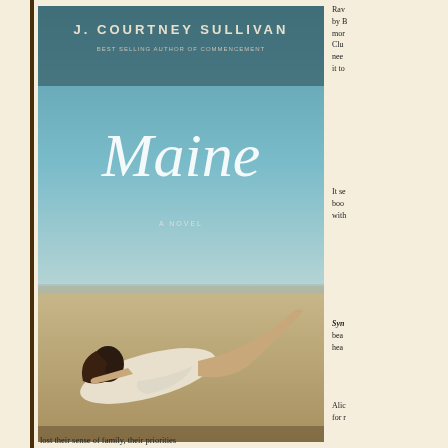[Figure (photo): Book cover of 'Maine' by J. Courtney Sullivan, bestselling author of Commencement. Shows a young woman in a white dress lying on a beach, viewed from behind, with teal/blue sky. Cursive title 'Maine' and subtitle 'A Novel'.]
Rav by B mor Clul nee it to
It se boo with
Syn bea hea
Alic for r lost their sense of family, their priorities never resolved, and will forever be atte daughter, is a recovering alcoholic, an farmer in California.  Anne Marie, Alice is questioning her worth as a woman a pregnant, with a wayward boyfriend wh
In a study of characters, family dynam are thrust into this family of imperfect s